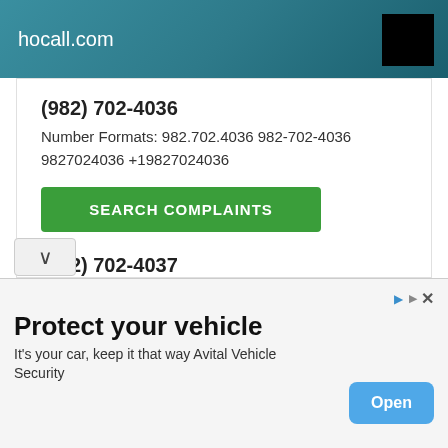hocall.com
(982) 702-4036
Number Formats: 982.702.4036 982-702-4036 9827024036 +19827024036
SEARCH COMPLAINTS
(982) 702-4037
Number Formats: 982.702.4037 982-702-4037 9827024037 +19827024037
SEARCH COMPLAINTS
(982) 702-4038
Protect your vehicle
It's your car, keep it that way Avital Vehicle Security
Open